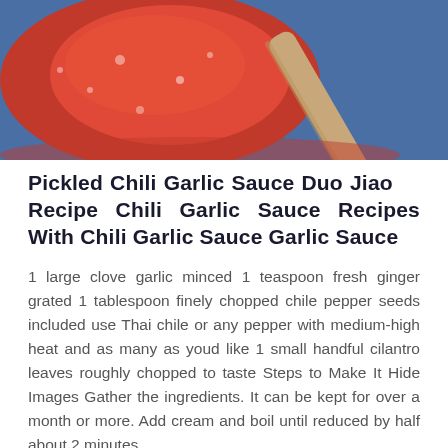[Figure (photo): Close-up photo of red chili garlic sauce in a glass jar with a wooden spoon, on a blue/purple background.]
Pickled Chili Garlic Sauce Duo Jiao   Recipe Chili Garlic Sauce Recipes With Chili Garlic Sauce Garlic Sauce
1 large clove garlic minced 1 teaspoon fresh ginger grated 1 tablespoon finely chopped chile pepper seeds included use Thai chile or any pepper with medium-high heat and as many as youd like 1 small handful cilantro leaves roughly chopped to taste Steps to Make It Hide Images Gather the ingredients. It can be kept for over a month or more. Add cream and boil until reduced by half about 2 minutes.
Show Image
[Figure (photo): Bottom portion of a photo showing a white bowl with red sauce and spices, on a dark background.]